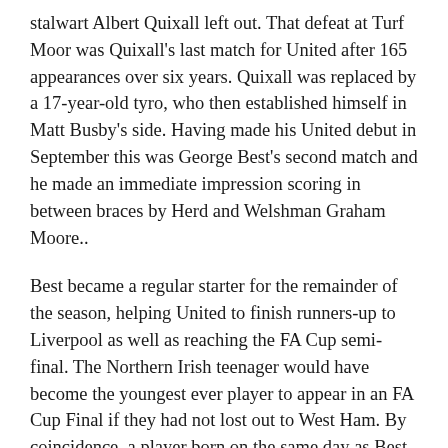stalwart Albert Quixall left out. That defeat at Turf Moor was Quixall's last match for United after 165 appearances over six years. Quixall was replaced by a 17-year-old tyro, who then established himself in Matt Busby's side. Having made his United debut in September this was George Best's second match and he made an immediate impression scoring in between braces by Herd and Welshman Graham Moore..
Best became a regular starter for the remainder of the season, helping United to finish runners-up to Liverpool as well as reaching the FA Cup semi-final. The Northern Irish teenager would have become the youngest ever player to appear in an FA Cup Final if they had not lost out to West Ham. By coincidence, a player born on the same day as Best did play in that Final for Second Division Preston North End and, at just shy of his eighteenth